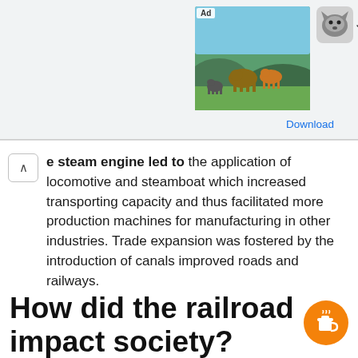[Figure (screenshot): Advertisement banner showing game with animals (cattle, wolf) and a Download link. Includes wolf avatar thumbnail and 'Joi' text partially visible.]
e steam engine led to the application of locomotive and steamboat which increased transporting capacity and thus facilitated more production machines for manufacturing in other industries. Trade expansion was fostered by the introduction of canals improved roads and railways.
How did the railroad impact society?
Railroads created a more interconnected society. Connecting people and...